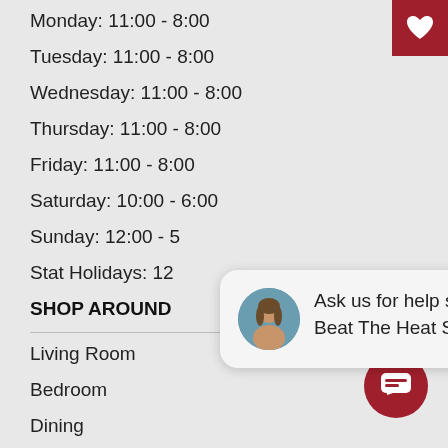Monday: 11:00 - 8:00
Tuesday: 11:00 - 8:00
Wednesday: 11:00 - 8:00
Thursday: 11:00 - 8:00
Friday: 11:00 - 8:00
Saturday: 10:00 - 6:00
Sunday: 12:00 - 5
Stat Holidays: 12
SHOP AROUND
Living Room
Bedroom
Dining
[Figure (screenshot): Chat popup overlay with avatar photo and text: Ask us for help shopping our Beat The Heat Summer Sale!, with a close button and chat FAB button]